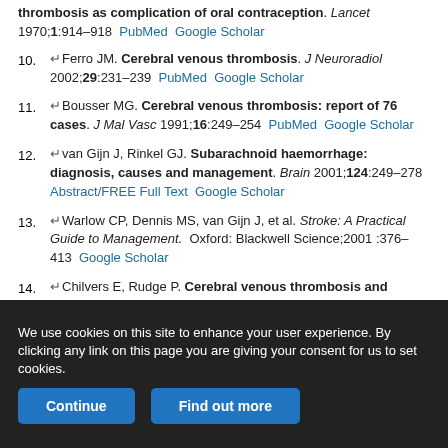thrombosis as complication of oral contraception. Lancet 1970;1:914–918 PubMed Google Scholar
10. ↵Ferro JM. Cerebral venous thrombosis. J Neuroradiol 2002;29:231–239 PubMed Google Scholar
11. ↵Bousser MG. Cerebral venous thrombosis: report of 76 cases. J Mal Vasc 1991;16:249–254 PubMed Google Scholar
12. ↵van Gijn J, Rinkel GJ. Subarachnoid haemorrhage: diagnosis, causes and management. Brain 2001;124:249–278 Abstract/FREE Full Text Google Scholar
13. ↵Warlow CP, Dennis MS, van Gijn J, et al. Stroke: A Practical Guide to Management. Oxford: Blackwell Science;2001 :376–413 Google Scholar
14. ↵Chilvers E, Rudge P. Cerebral venous thrombosis and subarachnoid
We use cookies on this site to enhance your user experience. By clicking any link on this page you are giving your consent for us to set cookies.